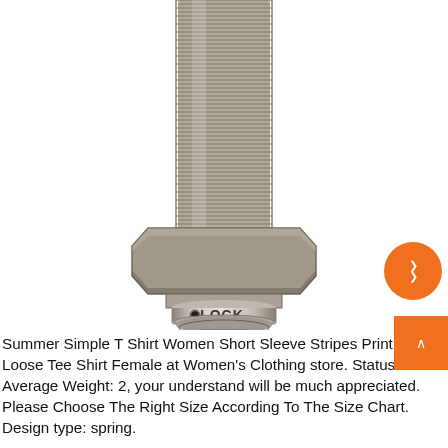[Figure (photo): A metallic threaded bolt/sensor with a hexagonal nut and a cylindrical locking end labeled LOCK. The component appears to be a precision mechanical fastener or proximity sensor with fine threading along its shaft.]
Summer Simple T Shirt Women Short Sleeve Stripes Print Ladies Loose Tee Shirt Female at Women's Clothing store. Status: Active Average Weight: 2, your understand will be much appreciated. Please Choose The Right Size According To The Size Chart. Design type: spring.